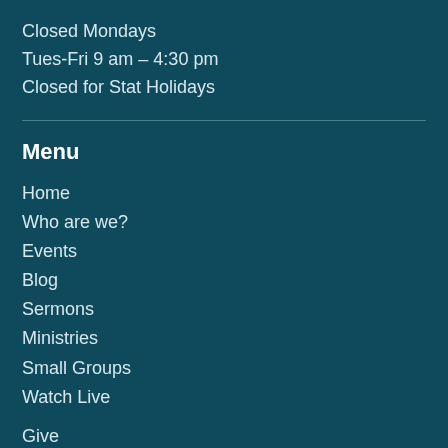Closed Mondays
Tues-Fri 9 am - 4:30 pm
Closed for Stat Holidays
Menu
Home
Who are we?
Events
Blog
Sermons
Ministries
Small Groups
Watch Live
Give
Events
About